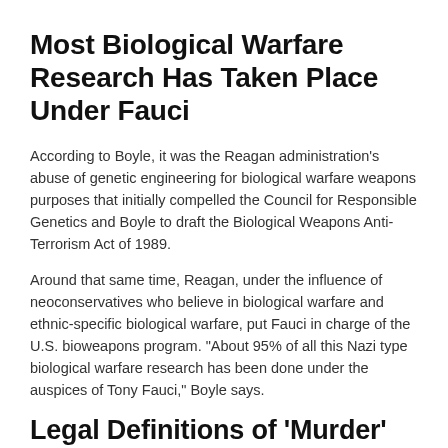Most Biological Warfare Research Has Taken Place Under Fauci
According to Boyle, it was the Reagan administration’s abuse of genetic engineering for biological warfare weapons purposes that initially compelled the Council for Responsible Genetics and Boyle to draft the Biological Weapons Anti-Terrorism Act of 1989.
Around that same time, Reagan, under the influence of neoconservatives who believe in biological warfare and ethnic-specific biological warfare, put Fauci in charge of the U.S. bioweapons program. “About 95% of all this Nazi type biological warfare research has been done under the auspices of Tony Fauci,” Boyle says.
Legal Definitions of ‘Murder’ and ‘Conspiracy to Murder’